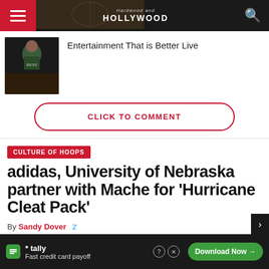Hardwood and Hollywood — Entertainment That is Better Live
[Figure (photo): Basketball player in Milwaukee Bucks jersey]
Entertainment That is Better Live
CLICK TO COMMENT
CULTURE OF HOOPS
adidas, University of Nebraska partner with Mache for 'Hurricane Cleat Pack'
By Sandy Dover
[Figure (other): Tally advertisement banner: Fast credit card payoff — Download Now]